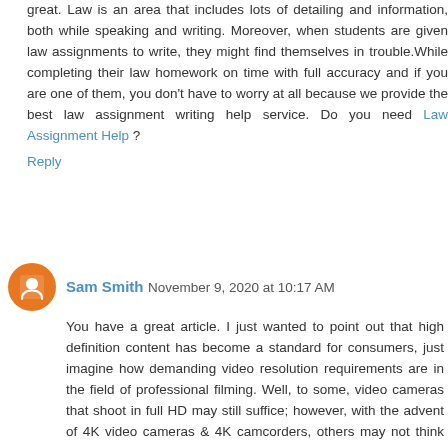great. Law is an area that includes lots of detailing and information, both while speaking and writing. Moreover, when students are given law assignments to write, they might find themselves in trouble.While completing their law homework on time with full accuracy and if you are one of them, you don't have to worry at all because we provide the best law assignment writing help service. Do you need Law Assignment Help ?
Reply
Sam Smith  November 9, 2020 at 10:17 AM
You have a great article. I just wanted to point out that high definition content has become a standard for consumers, just imagine how demanding video resolution requirements are in the field of professional filming. Well, to some, video cameras that shoot in full HD may still suffice; however, with the advent of 4K video cameras & 4K camcorders, others may not think the same anymore. Many of the newer 4K models have very advanced HD functionality and are truly a one shop stop for HD and 4K combined. Know more about Best 4K Camcorders Under 1000 ?